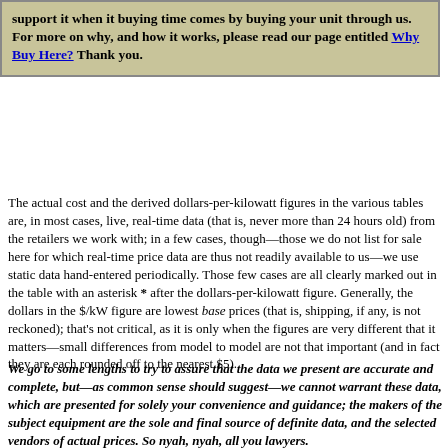support it when it buying time comes by buying your unit through us. For more on why, and how it works, please read our page entitled Why Buy Here? Thank you.
The actual cost and the derived dollars-per-kilowatt figures in the various tables are, in most cases, live, real-time data (that is, never more than 24 hours old) from the retailers we work with; in a few cases, though—those we do not list for sale here for which real-time price data are thus not readily available to us—we use static data hand-entered periodically. Those few cases are all clearly marked out in the table with an asterisk * after the dollars-per-kilowatt figure. Generally, the dollars in the $/kW figure are lowest base prices (that is, shipping, if any, is not reckoned); that's not critical, as it is only when the figures are very different that it matters—small differences from model to model are not that important (and in fact they are each rounded off to the nearest $5).
We go to some lengths to try to assure that the data we present are accurate and complete, but—as common sense should suggest—we cannot warrant these data, which are presented for solely your convenience and guidance; the makers of the subject equipment are the sole and final source of definite data, and the selected vendors of actual prices. So nyah, nyah, all you lawyers.